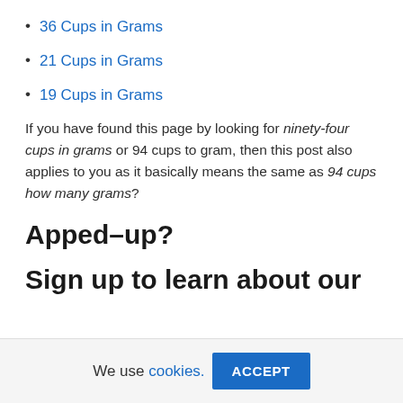36 Cups in Grams
21 Cups in Grams
19 Cups in Grams
If you have found this page by looking for ninety-four cups in grams or 94 cups to gram, then this post also applies to you as it basically means the same as 94 cups how many grams?
Apped–up?
Sign up to learn about our
We use cookies. ACCEPT